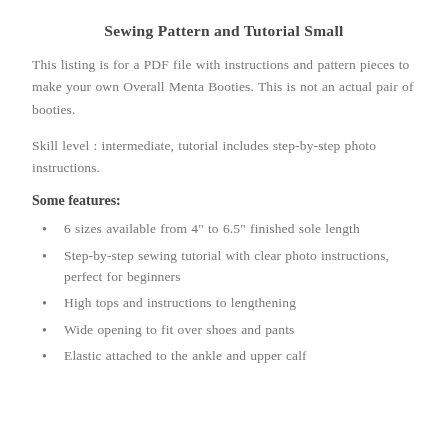Sewing Pattern and Tutorial Small
This listing is for a PDF file with instructions and pattern pieces to make your own Overall Menta Booties. This is not an actual pair of booties.
Skill level : intermediate, tutorial includes step-by-step photo instructions.
Some features:
6 sizes available from 4" to 6.5" finished sole length
Step-by-step sewing tutorial with clear photo instructions, perfect for beginners
High tops and instructions to lengthening
Wide opening to fit over shoes and pants
Elastic attached to the ankle and upper calf